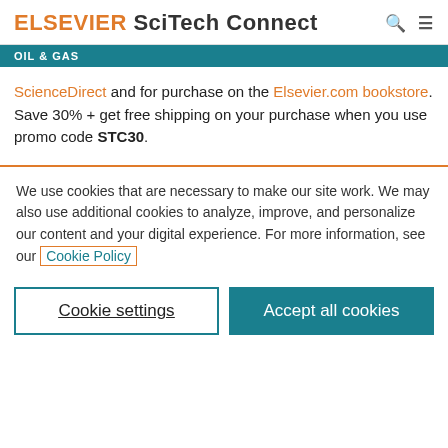ELSEVIER SciTech Connect
OIL & GAS
ScienceDirect and for purchase on the Elsevier.com bookstore. Save 30% + get free shipping on your purchase when you use promo code STC30.
We use cookies that are necessary to make our site work. We may also use additional cookies to analyze, improve, and personalize our content and your digital experience. For more information, see our Cookie Policy
Cookie settings | Accept all cookies